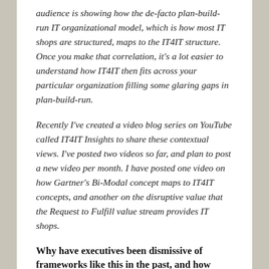audience is showing how the de-facto plan-build-run IT organizational model, which is how most IT shops are structured, maps to the IT4IT structure. Once you make that correlation, it's a lot easier to understand how IT4IT then fits across your particular organization filling some glaring gaps in plan-build-run.
Recently I've created a video blog series on YouTube called IT4IT Insights to share these contextual views. I've posted two videos so far, and plan to post a new video per month. I have posted one video on how Gartner's Bi-Modal concept maps to IT4IT concepts, and another on the disruptive value that the Request to Fulfill value stream provides IT shops.
Why have executives been dismissive of frameworks like this in the past, and how...